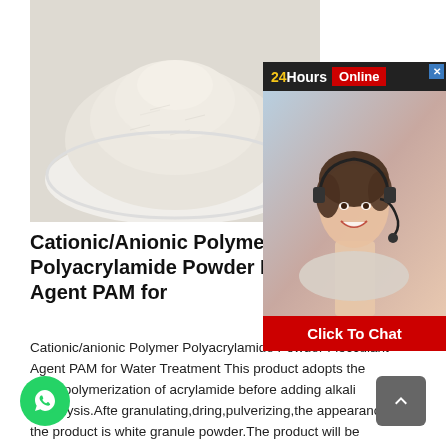[Figure (photo): White powder (polyacrylamide powder) piled on a white plate/dish, photographed from above at an angle]
[Figure (screenshot): 24Hours Online chat widget overlay showing a customer service agent (woman with headset, smiling) and a 'Click To Chat' red button at the bottom. Header shows '24Hours' in yellow/white on dark background and 'Online' in red.]
Cationic/Anionic Polyme Polyacrylamide Powder Flocculant Agent PAM for
Cationic/anionic Polymer Polyacrylamide Powder Flocculant Agent PAM for Water Treatment This product adopts the homopolymerization of acrylamide before adding alkali hydrolysis.After granulating,dring,pulverizing,the appearance of the product is white granule powder.The product will be